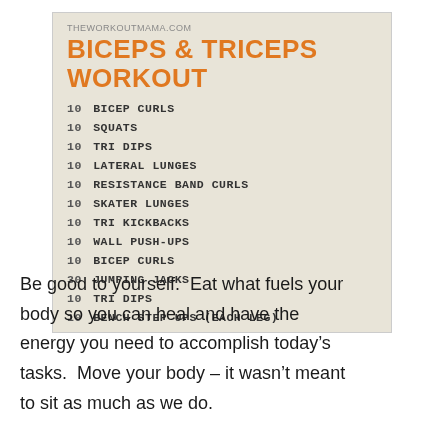THEWORKOUTMAMA.COM
BICEPS & TRICEPS WORKOUT
10 BICEP CURLS
10 SQUATS
10 TRI DIPS
10 LATERAL LUNGES
10 RESISTANCE BAND CURLS
10 SKATER LUNGES
10 TRI KICKBACKS
10 WALL PUSH-UPS
10 BICEP CURLS
30 JUMPING JACKS
10 TRI DIPS
10 BENCH STEP UPS (EACH LEG)
Be good to yourself.  Eat what fuels your body so you can heal and have the energy you need to accomplish today’s tasks.  Move your body – it wasn’t meant to sit as much as we do.